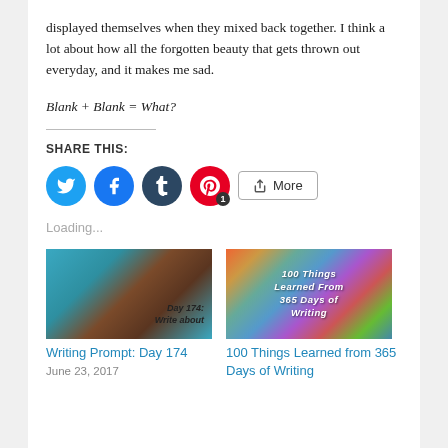displayed themselves when they mixed back together. I think a lot about how all the forgotten beauty that gets thrown out everyday, and it makes me sad.
Blank + Blank = What?
SHARE THIS:
[Figure (other): Social sharing buttons: Twitter (blue circle), Facebook (blue circle), Tumblr (dark circle), Pinterest (red circle with badge '1'), and a More button]
Loading...
[Figure (photo): Sea turtle underwater with text overlay 'Day 174: Write about...']
Writing Prompt: Day 174
June 23, 2017
[Figure (photo): Colorful collage image with text '100 Things Learned from 365 Days of Writing']
100 Things Learned from 365 Days of Writing